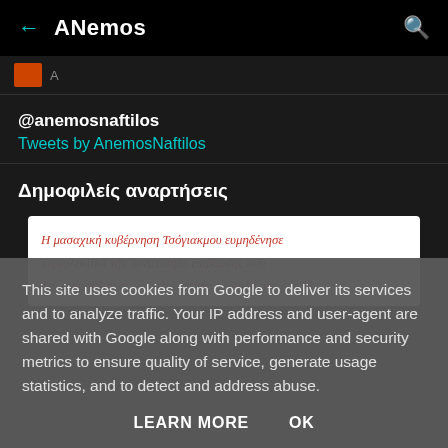← ANemos 🔍
[Figure (screenshot): Small orange/red image thumbnail with a letter]
@anemosnaftilos
Tweets by AnemoNaftilos
Δημοφιλείς αναρτήσεις
[Figure (photo): Handwritten Greek text in red pen on white paper: Η μασαχική κυβέρνηση Τσόγιακμου ευμηδένησε κυριολεκτικά τήν δυνατότητα επιβίωσης που δεν στηράβλαν σε μία αξιοπρεπής σύσταξη που επί 35]
This site uses cookies from Google to deliver its services and to analyze traffic. Your IP address and user-agent are shared with Google along with performance and security metrics to ensure quality of service, generate usage statistics, and to detect and address abuse.
LEARN MORE   OK